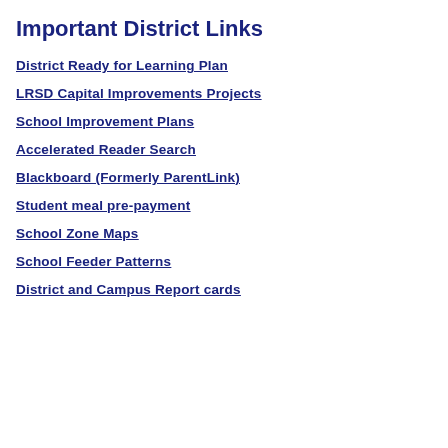Important District Links
District Ready for Learning Plan
LRSD Capital Improvements Projects
School Improvement Plans
Accelerated Reader Search
Blackboard (Formerly ParentLink)
Student meal pre-payment
School Zone Maps
School Feeder Patterns
District and Campus Report cards